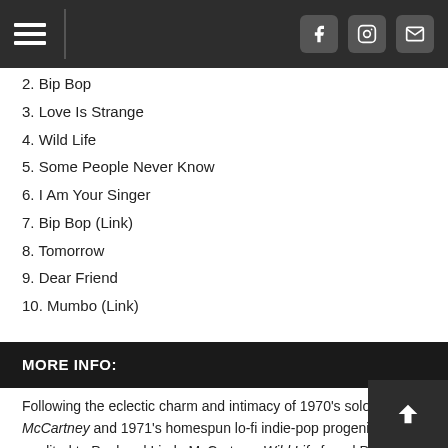Navigation bar with hamburger menu, Facebook, Instagram, and email icons
2. Bip Bop
3. Love Is Strange
4. Wild Life
5. Some People Never Know
6. I Am Your Singer
7. Bip Bop (Link)
8. Tomorrow
9. Dear Friend
10. Mumbo (Link)
MORE INFO:
Following the eclectic charm and intimacy of 1970's solo McCartney and 1971's homespun lo-fi indie-pop progenitor RAM credited to Paul and Linda McCartney, Wild Life found Paul once again redefining his post-Beatles creative identity, this time beginning his tenure as a founding member of Wings. A rollicking left turn from its predecessors, Wild Life was recorded in barely more than a week, with more than half of the songs captured in a single take. The end result would be eight songs